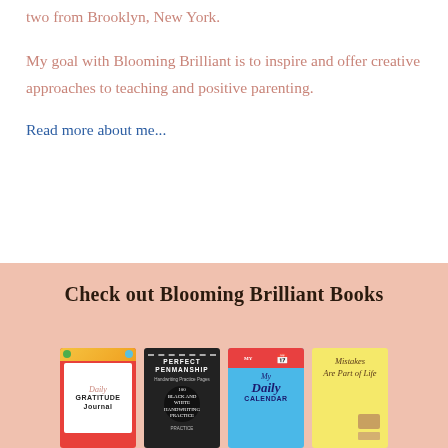two from Brooklyn, New York.
My goal with Blooming Brilliant is to inspire and offer creative approaches to teaching and positive parenting.
Read more about me...
[Figure (illustration): Book banner with pink/salmon background showing 'Check out Blooming Brilliant Books' title and four book covers: Daily Gratitude Journal (red cover), Perfect Penmanship (black cover), My Daily Calendar (blue cover), and Mistakes (yellow cover).]